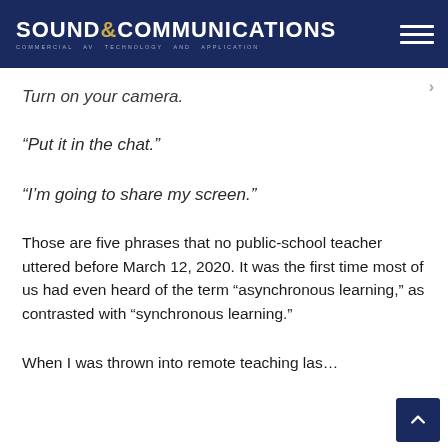SOUND & COMMUNICATIONS — Commercial AV Technology and Application
Turn on your camera.
“Put it in the chat.”
“I’m going to share my screen.”
Those are five phrases that no public-school teacher uttered before March 12, 2020. It was the first time most of us had even heard of the term “asynchronous learning,” as contrasted with “synchronous learning.”
When I was thrown into remote teaching las…